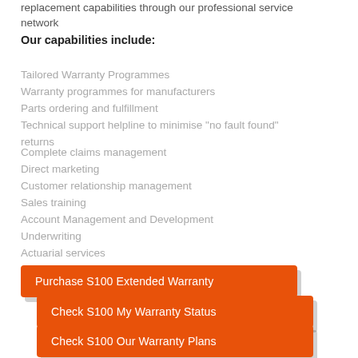replacement capabilities through our professional service network
Our capabilities include:
Tailored Warranty Programmes
Warranty programmes for manufacturers
Parts ordering and fulfillment
Technical support helpline to minimise "no fault found" returns
Complete claims management
Direct marketing
Customer relationship management
Sales training
Account Management and Development
Underwriting
Actuarial services
Purchase S100 Extended Warranty
Check S100 My Warranty Status
Check S100 Our Warranty Plans